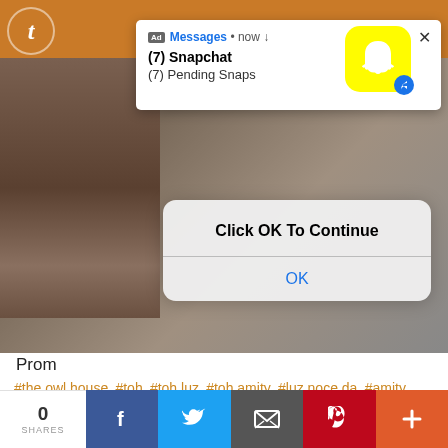[Figure (screenshot): Tumblr page screenshot showing a Snapchat push notification ad popup and a 'Click OK To Continue' dialog overlay on a background image, with tags and share bar below]
(7) Snapchat
(7) Pending Snaps
Click OK To Continue
OK
Prom
#the owl house #toh #toh luz #toh amity #luz noceda #amity blight #toh lumity #lumity #deboo
29K notes · View notes
0
SHARES